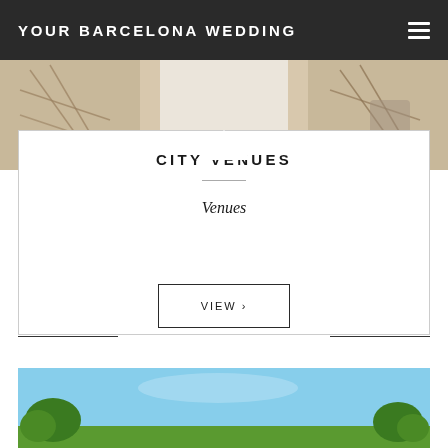YOUR BARCELONA WEDDING
[Figure (photo): Indoor venue photo showing decorative lattice and white draping with ornate furniture]
CITY VENUES
Venues
VIEW ›
[Figure (photo): Outdoor venue photo with blue sky and tree foliage]